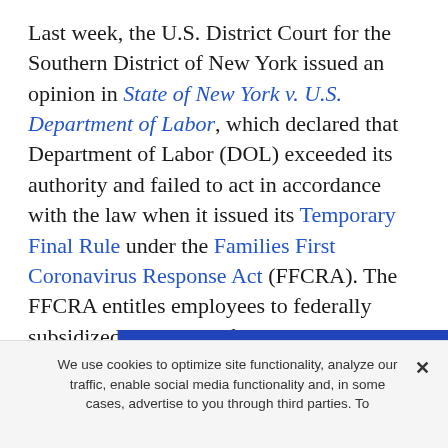Last week, the U.S. District Court for the Southern District of New York issued an opinion in State of New York v. U.S. Department of Labor, which declared that Department of Labor (DOL) exceeded its authority and failed to act in accordance with the law when it issued its Temporary Final Rule under the Families First Coronavirus Response Act (FFCRA). The FFCRA entitles employees to federally subsidized paid leave if they are unable to work due to a specified COVID-19-related reason. The Southern District of New York's orde[r...] chall[enged...] allo[wed...]
Stay updated.
We use cookies to optimize site functionality, analyze our traffic, enable social media functionality and, in some cases, advertise to you through third parties. To